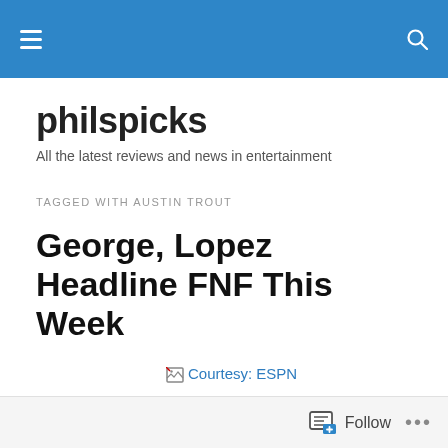philspicks — navigation bar with hamburger menu and search icon
philspicks
All the latest reviews and news in entertainment
TAGGED WITH AUSTIN TROUT
George, Lopez Headline FNF This Week
[Figure (photo): Broken image placeholder with alt text 'Courtesy: ESPN' shown as a linked broken image icon followed by blue text 'Courtesy: ESPN']
Follow  •••